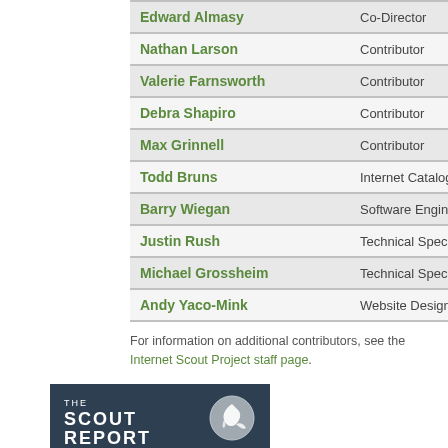| Name | Role |
| --- | --- |
| Edward Almasy | Co-Director |
| Nathan Larson | Contributor |
| Valerie Farnsworth | Contributor |
| Debra Shapiro | Contributor |
| Max Grinnell | Contributor |
| Todd Bruns | Internet Cataloger |
| Barry Wiegan | Software Engineer |
| Justin Rush | Technical Specialist |
| Michael Grossheim | Technical Specialist |
| Andy Yaco-Mink | Website Designer |
For information on additional contributors, see the Internet Scout Project staff page.
[Figure (logo): The Scout Report logo — dark blue/slate background with 'THE SCOUT REPORT' text in white and a circular bird icon on the right.]
Current Scout Report